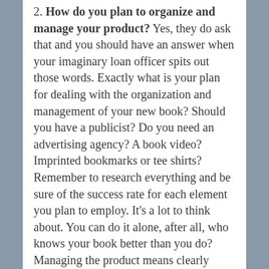2. How do you plan to organize and manage your product? Yes, they do ask that and you should have an answer when your imaginary loan officer spits out those words. Exactly what is your plan for dealing with the organization and management of your new book? Should you have a publicist? Do you need an advertising agency? A book video? Imprinted bookmarks or tee shirts? Remember to research everything and be sure of the success rate for each element you plan to employ. It's a lot to think about. You can do it alone, after all, who knows your book better than you do? Managing the product means clearly understanding it. So now is a good time to face the fact that YOU too are the product, your creativity, your talent as a writer, your expertise, your personality, your skills... and your book